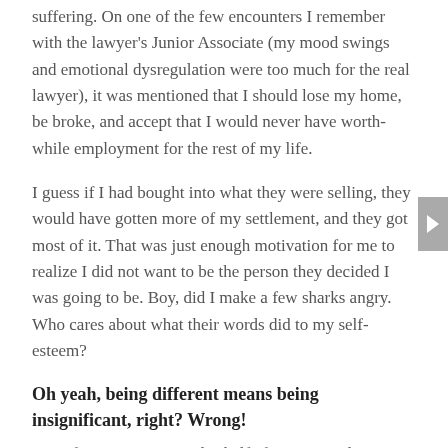suffering.  On one of the few encounters I remember with the lawyer's Junior Associate (my mood swings and emotional dysregulation were too much for the real lawyer), it was mentioned that I should lose my home, be broke, and accept that I would never have worth-while employment for the rest of my life.
I guess if I had bought into what they were selling, they would have gotten more of my settlement, and they got most of it. That was just enough motivation for me to realize I did not want to be the person they decided I was going to be.  Boy, did I make a few sharks angry.  Who cares about what their words did to my self-esteem?
Oh yeah, being different means being insignificant, right?  Wrong!
One afternoon a year-and-a-half after my accident, I sat at my kitchen table in despair, crying, and thought I could not live the way I had being living anymore. I